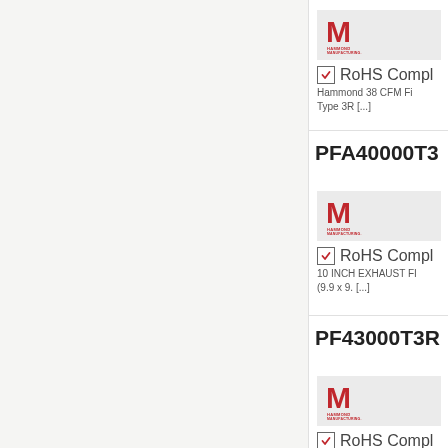[Figure (logo): Hammond Manufacturing logo - red M icon with HAMMOND MANUFACTURING text]
✓ RoHS Compl
Hammond 38 CFM Fi Type 3R [...]
PFA40000T3
[Figure (logo): Hammond Manufacturing logo - red M icon with HAMMOND MANUFACTURING text]
✓ RoHS Compl
10 INCH EXHAUST FI (9.9 x 9. [...]
PF43000T3R
[Figure (logo): Hammond Manufacturing logo - red M icon with HAMMOND MANUFACTURING text]
✓ RoHS Compl